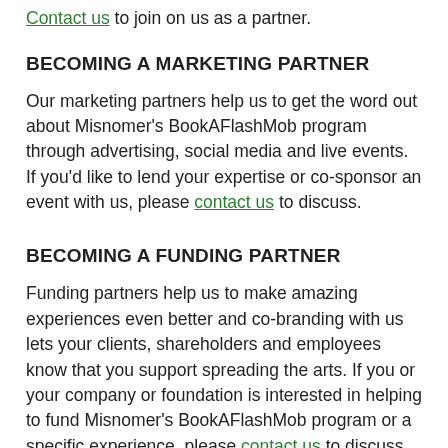Contact us to join on us as a partner.
BECOMING A MARKETING PARTNER
Our marketing partners help us to get the word out about Misnomer's BookAFlashMob program through advertising, social media and live events. If you'd like to lend your expertise or co-sponsor an event with us, please contact us to discuss.
BECOMING A FUNDING PARTNER
Funding partners help us to make amazing experiences even better and co-branding with us lets your clients, shareholders and employees know that you support spreading the arts. If you or your company or foundation is interested in helping to fund Misnomer's BookAFlashMob program or a specific experience, please contact us to discuss.